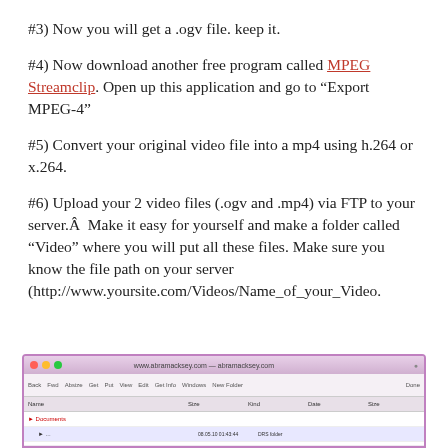#3) Now you will get a .ogv file. keep it.
#4) Now download another free program called MPEG Streamclip. Open up this application and go to “Export MPEG-4”
#5) Convert your original video file into a mp4 using h.264 or x.264.
#6) Upload your 2 video files (.ogv and .mp4) via FTP to your server.Â  Make it easy for yourself and make a folder called “Video” where you will put all these files. Make sure you know the file path on your server (http://www.yoursite.com/Videos/Name_of_your_Video.
[Figure (screenshot): Screenshot of a web browser (FTP client or file manager) showing a website interface at www.abramacksey.com with toolbar buttons and file listing]